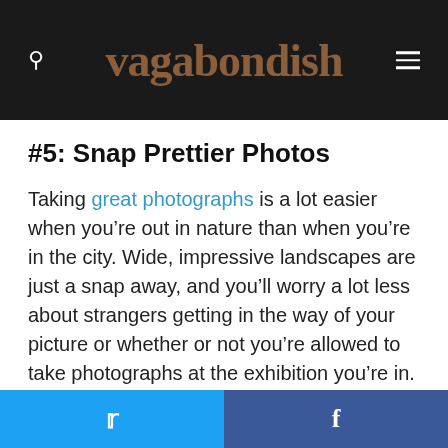vagabondish
#5: Snap Prettier Photos
Taking great photographs is a lot easier when you’re out in nature than when you’re in the city. Wide, impressive landscapes are just a snap away, and you’ll worry a lot less about strangers getting in the way of your picture or whether or not you’re allowed to take photographs at the exhibition you’re in.
Out in the wild, so to speak, it’s all yours, and
Twitter | Facebook